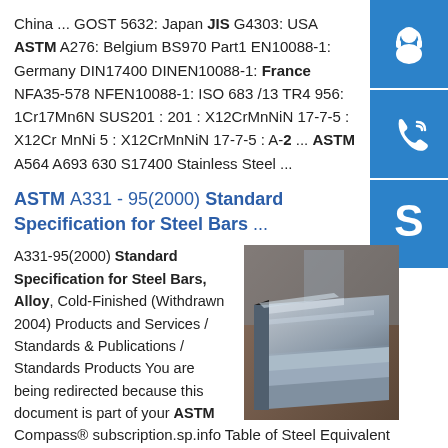China ... GOST 5632: Japan JIS G4303: USA ASTM A276: Belgium BS970 Part1 EN10088-1: Germany DIN17400 DINEN10088-1: France NFA35-578 NFEN10088-1: ISO 683 /13 TR4 956: 1Cr17Mn6N SUS201 : 201 : X12CrMnNiN 17-7-5 : X12Cr MnNi 5 : X12CrMnNiN 17-7-5 : A-2 ... ASTM A564 A693 630 S17400 Stainless Steel ...
ASTM A331 - 95(2000) Standard Specification for Steel Bars ...
A331-95(2000) Standard Specification for Steel Bars, Alloy, Cold-Finished (Withdrawn 2004) Products and Services / Standards & Publications / Standards Products You are being redirected because this document is part of your ASTM Compass® subscription.sp.info Table of Steel Equivalent
[Figure (photo): Stack of stainless steel sheets/plates photographed in a warehouse or factory setting]